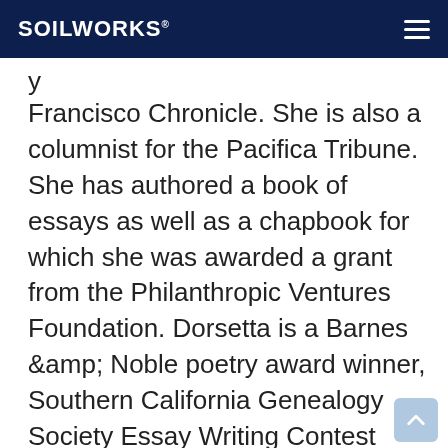SOILWORKS
y Francisco Chronicle. She is also a columnist for the Pacifica Tribune. She has authored a book of essays as well as a chapbook for which she was awarded a grant from the Philanthropic Ventures Foundation. Dorsetta is a Barnes &amp; Noble poetry award winner, Southern California Genealogy Society Essay Writing Contest Winner and was named “Humor Writer of the Month by University of Drayton, Erma Bombeck Writers Workshop. Dorsetta has held a position on the Airport